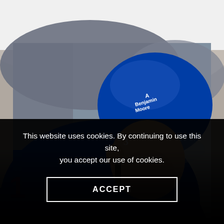[Figure (photo): Close-up photo of a hockey player wearing a blue New York Rangers jersey with number 18, blue helmet with Benjamin Moore sponsor logo, visor, leaning forward during a game. Blurred arena crowd and ice surface background.]
This website uses cookies. By continuing to use this site, you accept our use of cookies.
ACCEPT